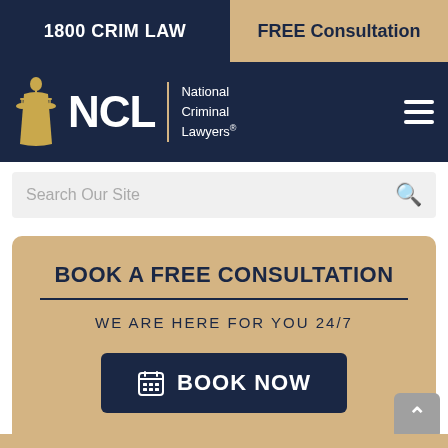1800 CRIM LAW
FREE Consultation
[Figure (logo): NCL National Criminal Lawyers logo with Lady Justice figure in gold, large NCL text, and subtitle 'National Criminal Lawyers' with decorative divider, on dark navy background. Hamburger menu icon on right.]
Search Our Site
BOOK A FREE CONSULTATION
WE ARE HERE FOR YOU 24/7
BOOK NOW